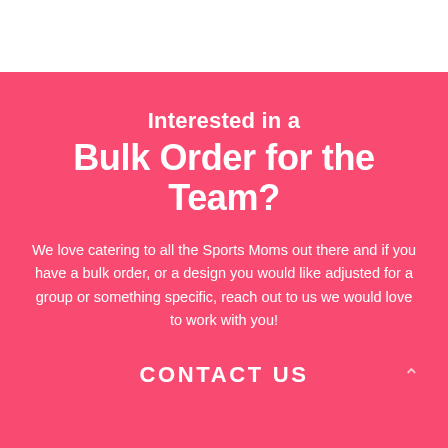Interested in a Bulk Order for the Team?
We love catering to all the Sports Moms out there and if you have a bulk order, or a design you would like adjusted for a group or something specific, reach out to us we would love to work with you!
CONTACT US